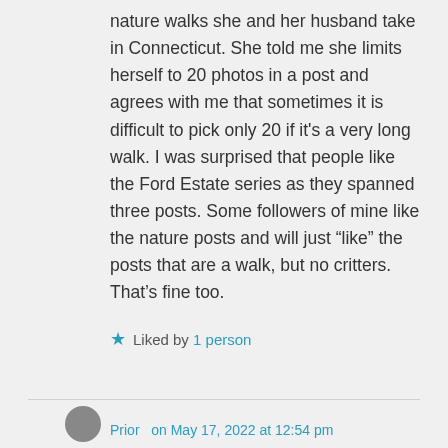nature walks she and her husband take in Connecticut. She told me she limits herself to 20 photos in a post and agrees with me that sometimes it is difficult to pick only 20 if it's a very long walk. I was surprised that people like the Ford Estate series as they spanned three posts. Some followers of mine like the nature posts and will just “like” the posts that are a walk, but no critters. That’s fine too.
Liked by 1 person
Prior   on May 17, 2022 at 12:54 pm